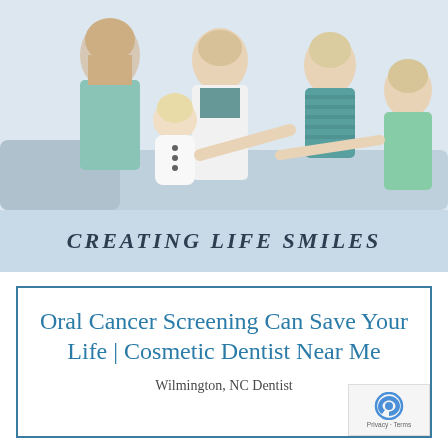[Figure (photo): A smiling male dentist in a white coat interacting with a family including a woman, a toddler, and two young boys in a bright, casual setting.]
CREATING LIFE SMILES
Oral Cancer Screening Can Save Your Life | Cosmetic Dentist Near Me
Wilmington, NC Dentist